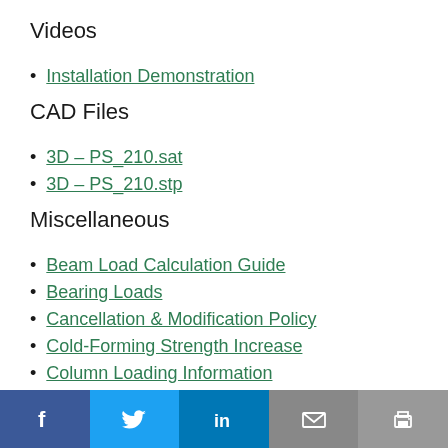Videos
Installation Demonstration
CAD Files
3D – PS_210.sat
3D – PS_210.stp
Miscellaneous
Beam Load Calculation Guide
Bearing Loads
Cancellation & Modification Policy
Cold-Forming Strength Increase
Column Loading Information
CSI MasterSpec (05430)
FAQ
Social share bar: Facebook, Twitter, LinkedIn, Email, Print